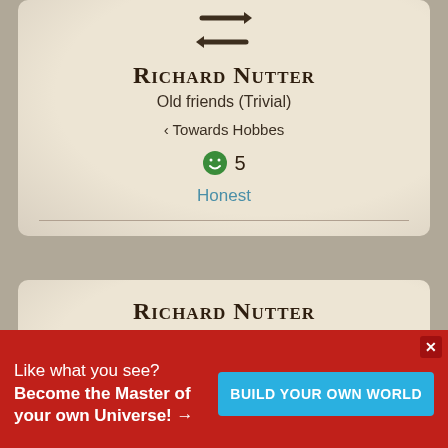[Figure (screenshot): Double arrow icon (bidirectional arrows) in dark brown]
Richard Nutter
Old friends (Trivial)
< Towards Hobbes
😊 5
Honest
Richard Nutter
Honest
Like what you see? Become the Master of your own Universe! →
BUILD YOUR OWN WORLD